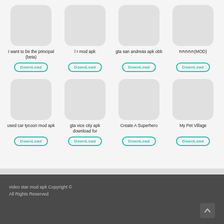[Figure (screenshot): App grid with 8 app cards in 2 rows of 4. Each card has a placeholder icon, title, and download button.]
I want to be the principal (beta)
l r mod apk
gta san andreas apk obb
חחחחח(MOD)
used car tycoon mod apk
gta vice city apk download for
Create A Superhero
My Pet Village
video star mod apk Copyright © All Rights Reserved